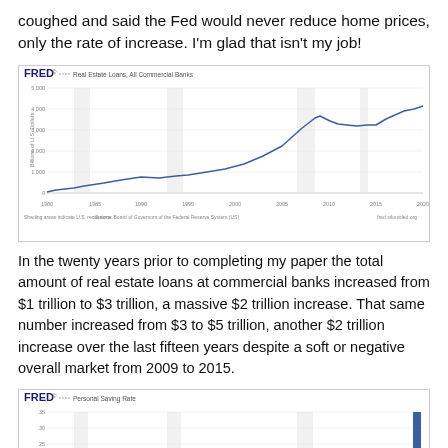coughed and said the Fed would never reduce home prices, only the rate of increase. I'm glad that isn't my job!
[Figure (line-chart): FRED chart showing Real Estate Loans at All Commercial Banks from ~1980 to 2020, rising from near 0 to about 5,000 billion USD.]
In the twenty years prior to completing my paper the total amount of real estate loans at commercial banks increased from $1 trillion to $3 trillion, a massive $2 trillion increase. That same number increased from $3 to $5 trillion, another $2 trillion increase over the last fifteen years despite a soft or negative overall market from 2009 to 2015.
[Figure (line-chart): FRED chart showing Personal Saving Rate, partially visible at bottom of page with a sharp spike visible at the far right.]